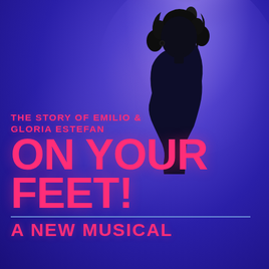[Figure (illustration): Silhouette of a woman with curly hair singing into a microphone on a stand, backlit by a bright white spotlight against a deep blue/purple background. The figure is dramatic and theatrical.]
THE STORY OF EMILIO & GLORIA ESTEFAN
ON YOUR FEET!
A NEW MUSICAL